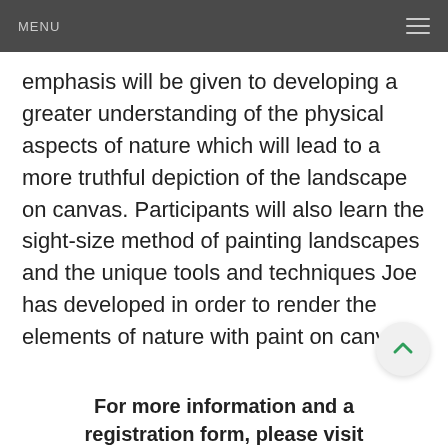MENU
emphasis will be given to developing a greater understanding of the physical aspects of nature which will lead to a more truthful depiction of the landscape on canvas. Participants will also learn the sight-size method of painting landscapes and the unique tools and techniques Joe has developed in order to render the elements of nature with paint on canvas.
For more information and a registration form, please visit